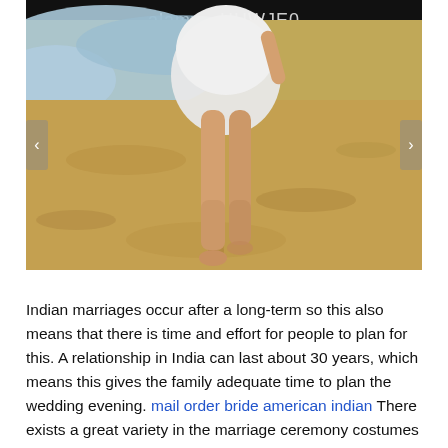[Figure (photo): A person wearing a white dress walking barefoot on a sandy beach, with ocean water visible in the background. A watermark bar at the bottom reads 'alamy - HHWJE0'.]
Indian marriages occur after a long-term so this also means that there is time and effort for people to plan for this. A relationship in India can last about 30 years, which means this gives the family adequate time to plan the wedding evening. mail order bride american indian There exists a great variety in the marriage ceremony costumes which might be worn upon such occasions. If